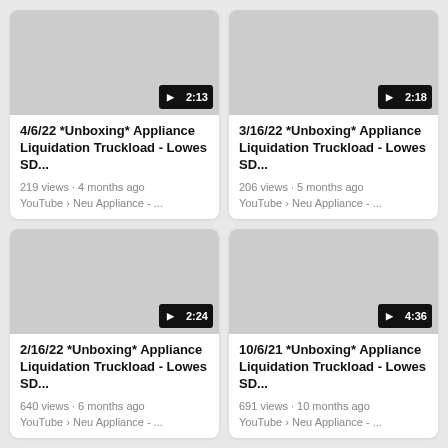[Figure (screenshot): Video thumbnail placeholder (gray) with play button and duration 2:13]
4/6/22 *Unboxing* Appliance Liquidation Truckload - Lowes SD...
219 views · 4 months ago
YouTube › Neu Appliance - ...
[Figure (screenshot): Video thumbnail placeholder (gray) with play button and duration 2:18]
3/16/22 *Unboxing* Appliance Liquidation Truckload - Lowes SD...
206 views · 5 months ago
YouTube › Neu Appliance - ...
[Figure (screenshot): Video thumbnail placeholder (gray) with play button and duration 2:24]
2/16/22 *Unboxing* Appliance Liquidation Truckload - Lowes SD...
640 views · 6 months ago
YouTube › Neu Appliance - ...
[Figure (screenshot): Video thumbnail placeholder (gray) with play button and duration 4:36]
10/6/21 *Unboxing* Appliance Liquidation Truckload - Lowes SD...
691 views · 10 months ago
YouTube › Neu Appliance - ...